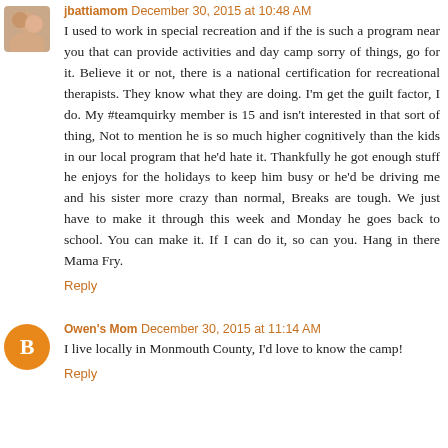[Figure (photo): Small avatar photo of a person (top-left of first comment)]
jbattiamom · December 30, 2015 at 10:48 AM
I used to work in special recreation and if the is such a program near you that can provide activities and day camp sorry of things, go for it. Believe it or not, there is a national certification for recreational therapists. They know what they are doing. I'm get the guilt factor, I do. My #teamquirky member is 15 and isn't interested in that sort of thing, Not to mention he is so much higher cognitively than the kids in our local program that he'd hate it. Thankfully he got enough stuff he enjoys for the holidays to keep him busy or he'd be driving me and his sister more crazy than normal, Breaks are tough. We just have to make it through this week and Monday he goes back to school. You can make it. If I can do it, so can you. Hang in there Mama Fry.
Reply
[Figure (illustration): Orange circle avatar with blogger 'B' icon for Owen's Mom comment]
Owen's Mom · December 30, 2015 at 11:14 AM
I live locally in Monmouth County, I'd love to know the camp!
Reply